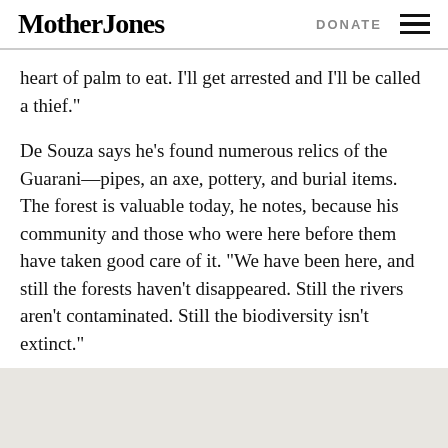Mother Jones | DONATE
heart of palm to eat. I’ll get arrested and I’ll be called a thief.”
De Souza says he’s found numerous relics of the Guarani—pipes, an axe, pottery, and burial items. The forest is valuable today, he notes, because his community and those who were here before them have taken good care of it. “We have been here, and still the forests haven’t disappeared. Still the rivers aren’t contaminated. Still the biodiversity isn’t extinct.”